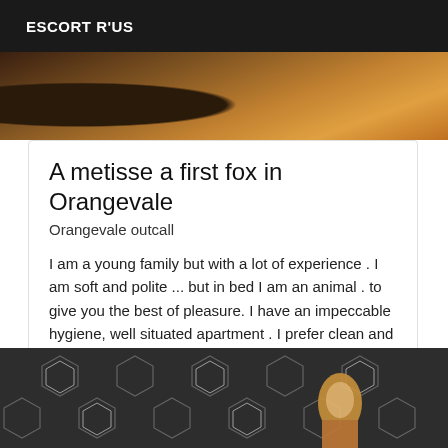ESCORT R'US
[Figure (photo): Partial view of a stuffed animal or fur costume in brown tones]
A metisse a first fox in Orangevale
Orangevale outcall
I am a young family but with a lot of experience . I am soft and polite ... but in bed I am an animal . to give you the best of pleasure. I have an impeccable hygiene, well situated apartment . I prefer clean and well educated. I send messages . Real pictures
[Figure (photo): Woman with blonde hair posing in front of a dark background with hexagonal logo pattern]